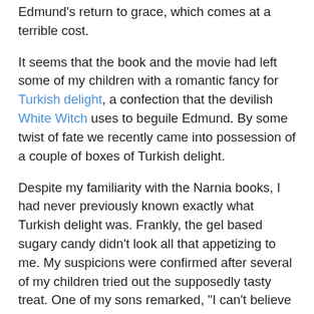Edmund's return to grace, which comes at a terrible cost.
It seems that the book and the movie had left some of my children with a romantic fancy for Turkish delight, a confection that the devilish White Witch uses to beguile Edmund. By some twist of fate we recently came into possession of a couple of boxes of Turkish delight.
Despite my familiarity with the Narnia books, I had never previously known exactly what Turkish delight was. Frankly, the gel based sugary candy didn't look all that appetizing to me. My suspicions were confirmed after several of my children tried out the supposedly tasty treat. One of my sons remarked, "I can't believe that Edmund sold out his brother and sisters for this stuff."
It's possible that our children were exposed to less than premium samples of the candy. Or perhaps Turkish delight was among the best confections available in the austere times of post-WWII England. But the boxes have remained untouched on the pantry shelf for the past couple of weeks. I could certainly see myself happily passing through the